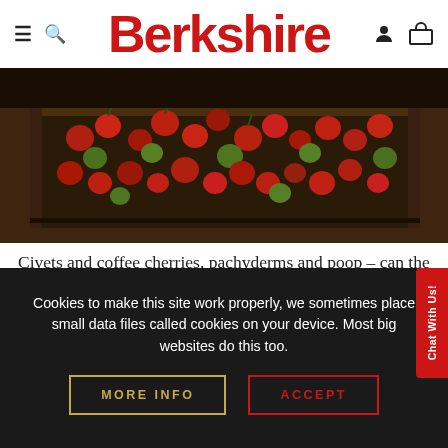Berkshire
[Figure (photo): Coffee cherries (red and green) in a dark wooden box or processing tray, shot from above at an angle]
Civets and coffee cherries, pachyderms and poop – can the artificial fermentation of coffee beans mimic the digestive effects that produce the world's most expensive – and arguably most unusual – cup of joe? To learn more about kopi luwas the morning...
Cookies to make this site work properly, we sometimes place small data files called cookies on your device. Most big websites do this too.
MORE INFO
ACCEPT
Chat With Us!